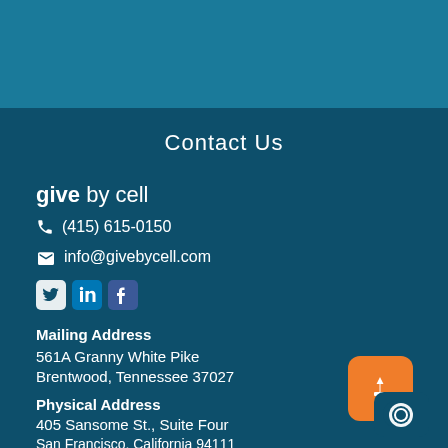Contact Us
[Figure (logo): give by cell logo text in white]
(415) 615-0150
info@givebycell.com
[Figure (infographic): Social media icons: Twitter, LinkedIn, Facebook]
Mailing Address
561A Granny White Pike
Brentwood, Tennessee 37027
Physical Address
405 Sansome St., Suite Four
San Francisco, California 94111
[Figure (logo): Give by cell app icon - orange rounded square with upload and chat bubble icons]